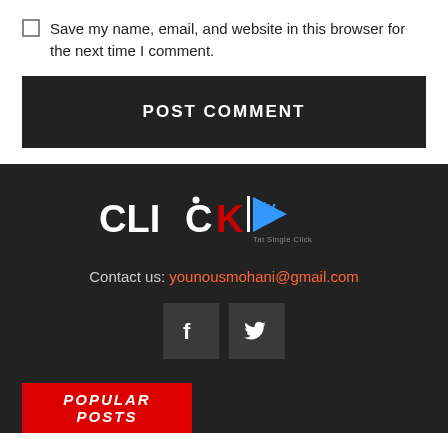Save my name, email, and website in this browser for the next time I comment.
POST COMMENT
[Figure (logo): ClickTV logo with red K and blue TV arrow, subtitle 'Tat Single Click' on dark background]
Contact us: younousmohani@gmail.com
[Figure (infographic): Facebook and Twitter social media icon buttons]
POPULAR POSTS